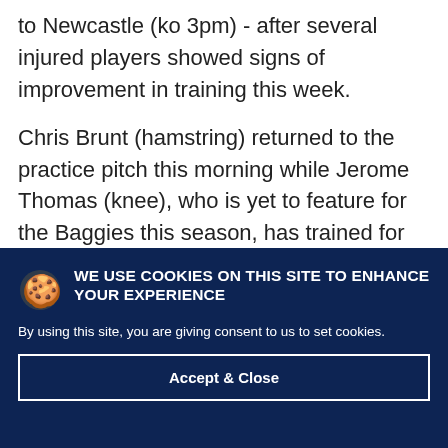to Newcastle (ko 3pm) - after several injured players showed signs of improvement in training this week.
Chris Brunt (hamstring) returned to the practice pitch this morning while Jerome Thomas (knee), who is yet to feature for the Baggies this season, has trained for the last
WE USE COOKIES ON THIS SITE TO ENHANCE YOUR EXPERIENCE
By using this site, you are giving consent to us to set cookies.
Accept & Close